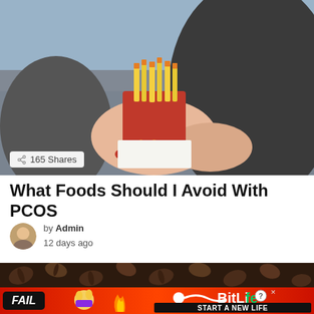[Figure (photo): Person eating McDonald's french fries from a red container, close-up photo with blurred background]
165 Shares
What Foods Should I Avoid With PCOS
by Admin
12 days ago
[Figure (photo): Coffee beans photo used as background for an article below]
[Figure (illustration): BitLife advertisement banner with red background, FAIL badge, flame emoji, facepalm emoji character, sperm icon, and text START A NEW LIFE]